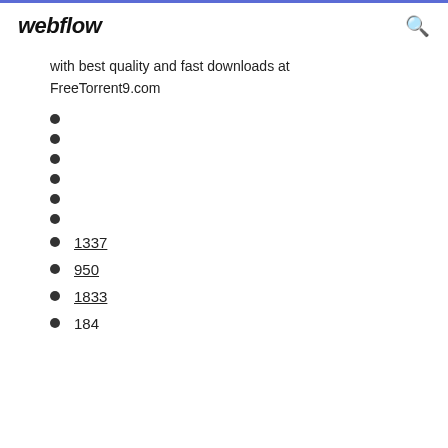webflow
with best quality and fast downloads at FreeTorrent9.com
1337
950
1833
184